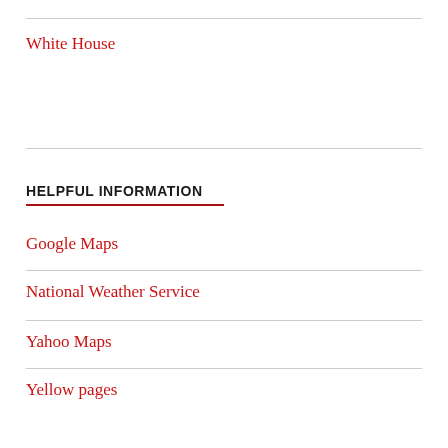White House
HELPFUL INFORMATION
Google Maps
National Weather Service
Yahoo Maps
Yellow pages